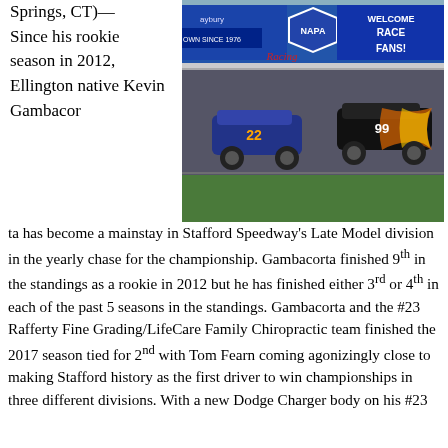Springs, CT)— Since his rookie season in 2012, Ellington native Kevin Gambacorta has become a mainstay in Stafford Speedway's Late Model division in the yearly chase for the championship. Gambacorta finished 9th in the standings as a rookie in 2012 but he has finished either 3rd or 4th in each of the past 5 seasons in the standings. Gambacorta and the #23 Rafferty Fine Grading/LifeCare Family Chiropractic team finished the 2017 season tied for 2nd with Tom Fearn coming agonizingly close to making Stafford history as the first driver to win championships in three different divisions. With a new Dodge Charger body on his #23
[Figure (photo): Two late model stock cars racing on a track at Stafford Speedway. Signs in the background include NAPA Racing and a 'Welcome Race Fans!' banner, and a Maybury sign.]